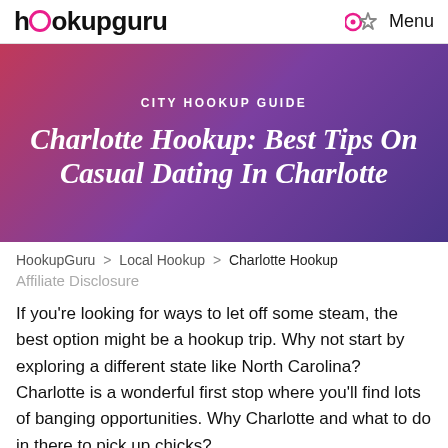hookupguru  Menu
CITY HOOKUP GUIDE
Charlotte Hookup: Best Tips On Casual Dating In Charlotte
HookupGuru > Local Hookup > Charlotte Hookup
Affiliate Disclosure
If you're looking for ways to let off some steam, the best option might be a hookup trip. Why not start by exploring a different state like North Carolina? Charlotte is a wonderful first stop where you'll find lots of banging opportunities. Why Charlotte and what to do in there to pick up chicks?